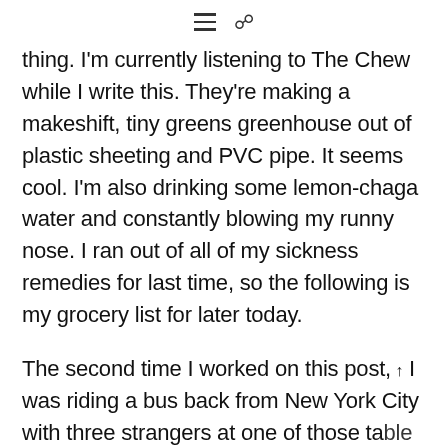[hamburger menu icon] [search icon]
thing. I'm currently listening to The Chew while I write this. They're making a makeshift, tiny greens greenhouse out of plastic sheeting and PVC pipe. It seems cool. I'm also drinking some lemon-chaga water and constantly blowing my runny nose. I ran out of all of my sickness remedies for last time, so the following is my grocery list for later today.
The second time I worked on this post, I was riding a bus back from New York City with three strangers at one of those table